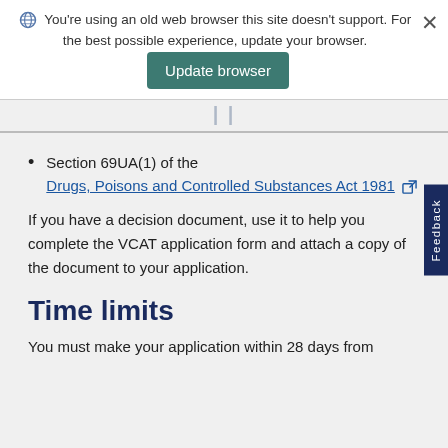You're using an old web browser this site doesn't support. For the best possible experience, update your browser. [Update browser]
Section 69UA(1) of the Drugs, Poisons and Controlled Substances Act 1981 [external link]
If you have a decision document, use it to help you complete the VCAT application form and attach a copy of the document to your application.
Time limits
You must make your application within 28 days from